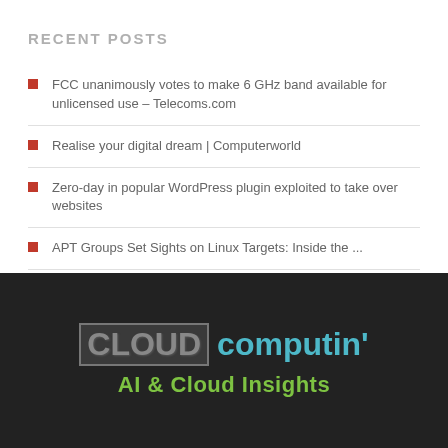RECENT POSTS
FCC unanimously votes to make 6 GHz band available for unlicensed use – Telecoms.com
Realise your digital dream | Computerworld
Zero-day in popular WordPress plugin exploited to take over websites
APT Groups Set Sights on Linux Targets: Inside the ...
The Windows print nightmare continues for the enterprise
[Figure (logo): Cloud Computin' logo with 'CLOUD' in grey block letters and 'computin'' in teal, and 'AI & Cloud Insights' tagline in green below]